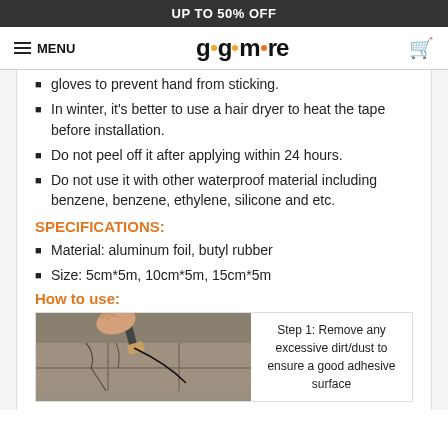UP TO 50% OFF
MENU | go•go•more | cart
gloves to prevent hand from sticking.
In winter, it's better to use a hair dryer to heat the tape before installation.
Do not peel off it after applying within 24 hours.
Do not use it with other waterproof material including benzene, benzene, ethylene, silicone and etc.
SPECIFICATIONS:
Material: aluminum foil, butyl rubber
Size: 5cm*5m, 10cm*5m, 15cm*5m
How to use:
[Figure (photo): Person applying tape to cracked tile floor with a brush tool, showing installation technique]
Step 1: Remove any excessive dirt/dust to ensure a good adhesive surface